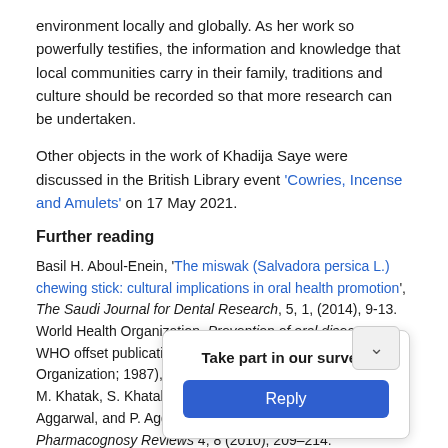environment locally and globally. As her work so powerfully testifies, the information and knowledge that local communities carry in their family, traditions and culture should be recorded so that more research can be undertaken.
Other objects in the work of Khadija Saye were discussed in the British Library event 'Cowries, Incense and Amulets' on 17 May 2021.
Further reading
Basil H. Aboul-Enein, 'The miswak (Salvadora persica L.) chewing stick: cultural implications in oral health promotion', The Saudi Journal for Dental Research, 5, 1, (2014), 9-13. World Health Organization, Prevention of oral diseases. WHO offset publication No. 103. Geneva: World Health Organization; 1987), p. 61. M. Khatak, S. Khatak,1 A. A. Siddqui, N. Vasudeva, A. Aggarwal, and P. Aggarwal, 'Salvadora persica', Pharmacognosy Reviews 4, 8 (2010), 209–214.
Kadija Ge… space we breathe' […